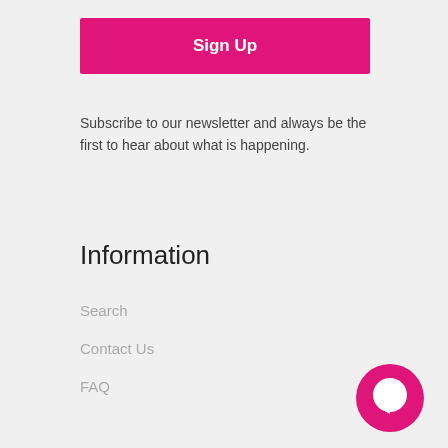Sign Up
Subscribe to our newsletter and always be the first to hear about what is happening.
Information
Search
Contact Us
FAQ
Blog
About us
Terms of Service
Refund policy
[Figure (illustration): Pink circular chat bubble icon in bottom right corner]
Social